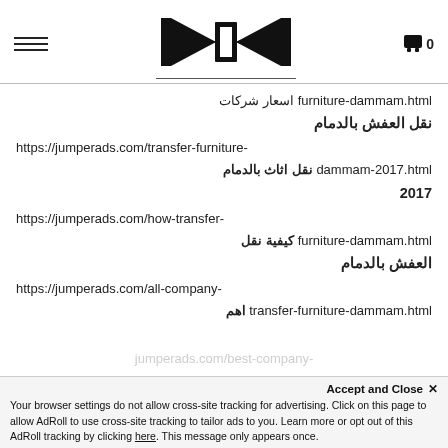[Figure (logo): Stylized black logo with wing/arrow shapes converging on a central cylinder, above a horizontal rule]
furniture-dammam.html اسعار شركات نقل العفش بالدمام
https://jumperads.com/transfer-furniture-dammam-2017.html نقل اثاث بالدمام 2017
https://jumperads.com/how-transfer-furniture-dammam.html كيفية نقل العفش بالدمام
https://jumperads.com/all-company-transfer-furniture-dammam.html اهم
Your browser settings do not allow cross-site tracking for advertising. Click on this page to allow AdRoll to use cross-site tracking to tailor ads to you. Learn more or opt out of this AdRoll tracking by clicking here. This message only appears once.